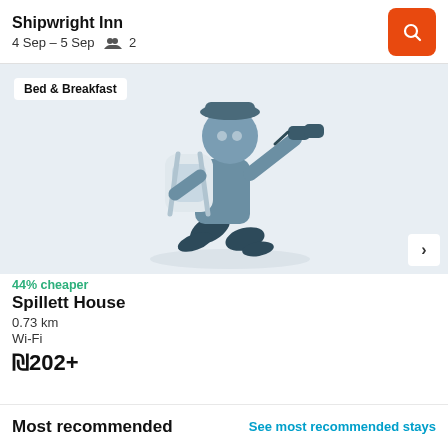Shipwright Inn
4 Sep – 5 Sep  👥 2
[Figure (illustration): Illustrated traveler figure with backpack looking through binoculars, on a light blue-grey background. Badge overlay reads 'Bed & Breakfast'. Next arrow button visible bottom right.]
44% cheaper
Spillett House
0.73 km
Wi-Fi
₪202+
Most recommended
See most recommended stays